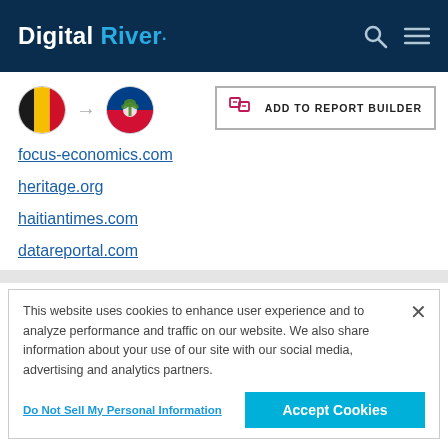Digital River
[Figure (other): Belgium flag circle and Haiti flag circle with arrow between them, plus Add to Report Builder button]
focus-economics.com
heritage.org
haitiantimes.com
datareportal.com
This website uses cookies to enhance user experience and to analyze performance and traffic on our website. We also share information about your use of our site with our social media, advertising and analytics partners.
Do Not Sell My Personal Information
Accept Cookies